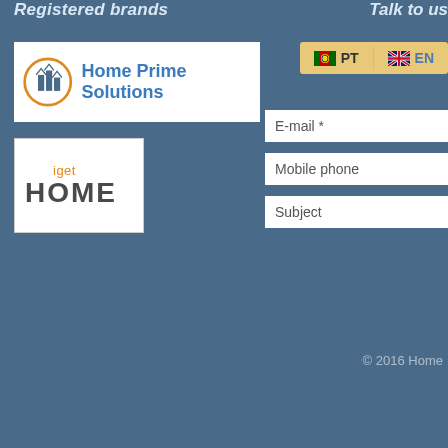Registered brands
Talk to us
[Figure (logo): Home Prime Solutions logo — orange circle with stylized building/chevron icon on the left, text 'Home Prime Solutions' in blue on the right, on white background]
[Figure (logo): iget HOME logo — 'iget' in small orange text above 'HOME' in large bold dark grey text, on white background]
[Figure (screenshot): Language switcher with PT (Portuguese flag) and EN (UK flag) buttons on golden/tan background]
E-mail *
Mobile phone
Subject
© 2016 Home